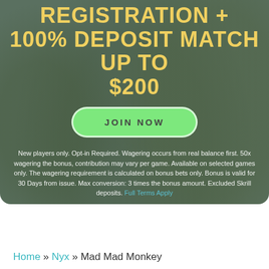REGISTRATION + 100% DEPOSIT MATCH UP TO $200
JOIN NOW
New players only. Opt-in Required. Wagering occurs from real balance first. 50x wagering the bonus, contribution may vary per game. Available on selected games only. The wagering requirement is calculated on bonus bets only. Bonus is valid for 30 Days from issue. Max conversion: 3 times the bonus amount. Excluded Skrill deposits. Full Terms Apply
Home » Nyx » Mad Mad Monkey